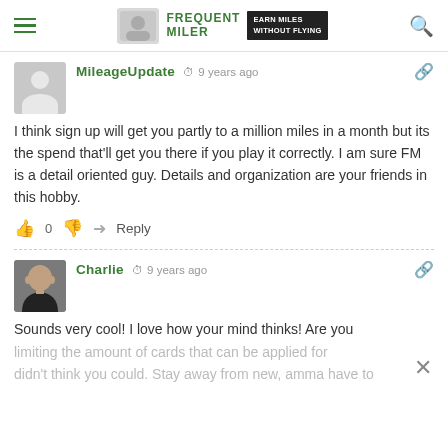Frequent Miler — Earn Miles Without Flying
MileageUpdate  9 years ago
I think sign up will get you partly to a million miles in a month but its the spend that'll get you there if you play it correctly. I am sure FM is a detail oriented guy. Details and organization are your friends in this hobby.
0  Reply
Charlie  9 years ago
Sounds very cool! I love how your mind thinks! Are you limiting the amount of cards that can be applied for didn't think you could. Stay away from new, amma have to